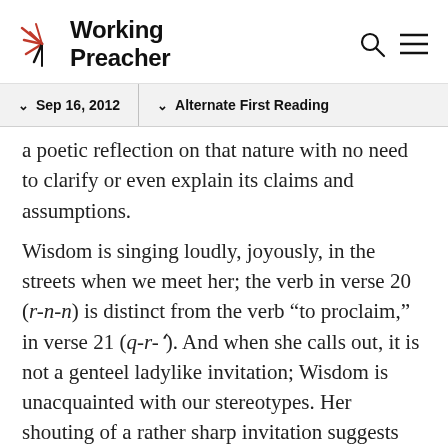Working Preacher
Sep 16, 2012   Alternate First Reading
a poetic reflection on that nature with no need to clarify or even explain its claims and assumptions.
Wisdom is singing loudly, joyously, in the streets when we meet her; the verb in verse 20 (r-n-n) is distinct from the verb "to proclaim," in verse 21 (q-r-'). And when she calls out, it is not a genteel ladylike invitation; Wisdom is unacquainted with our stereotypes. Her shouting of a rather sharp invitation suggests the rhetoric of a prophet; proverbs, mishlei, are one genre of prophetic speech. She asks